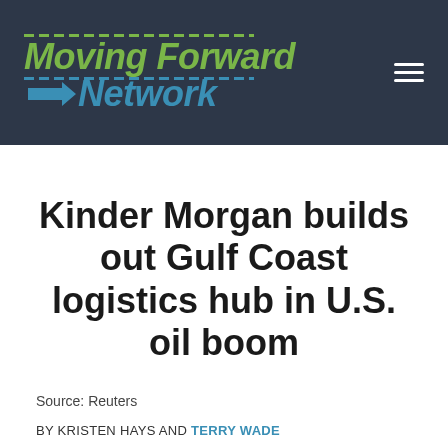[Figure (logo): Moving Forward Network logo with green italic text 'Moving Forward' and blue italic text 'Network' with dashed lines and arrow, on dark background with hamburger menu icon]
Kinder Morgan builds out Gulf Coast logistics hub in U.S. oil boom
Source: Reuters
BY KRISTEN HAYS AND TERRY WADE